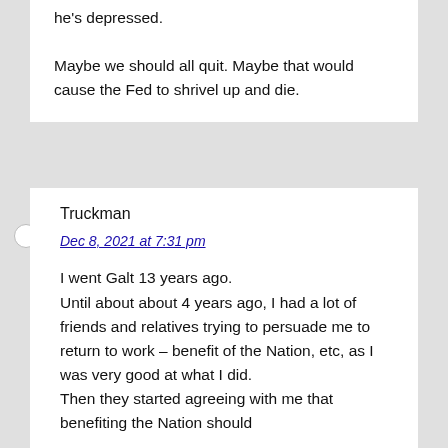he's depressed.

Maybe we should all quit. Maybe that would cause the Fed to shrivel up and die.
Truckman
Dec 8, 2021 at 7:31 pm

I went Galt 13 years ago. Until about about 4 years ago, I had a lot of friends and relatives trying to persuade me to return to work – benefit of the Nation, etc, as I was very good at what I did. Then they started agreeing with me that benefiting the Nation should